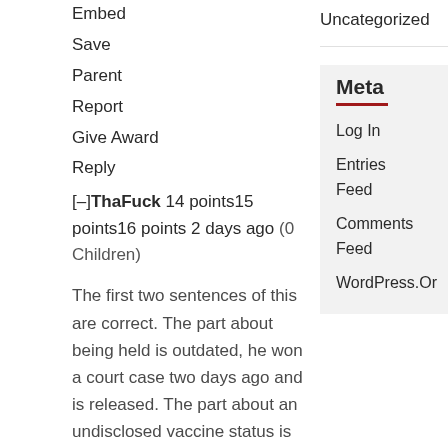Embed
Save
Parent
Report
Give Award
Reply
[–]ThaFuck 14 points15 points16 points 2 days ago (0 Children)
The first two sentences of this are correct. The part about being held is outdated, he won a court case two days ago and is released. The part about an undisclosed vaccine status is very wrong. He is famously
Uncategorized
Meta
Log In
Entries Feed
Comments Feed
WordPress.Or